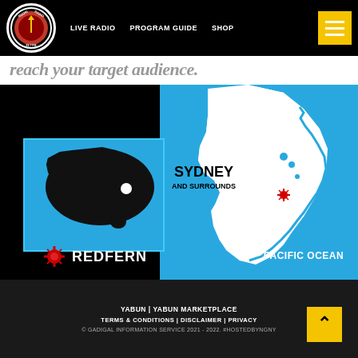KOORI RADIO 93.7 FM | LIVE RADIO | PROGRAM GUIDE | SHOP
reach your target audience.
[Figure (map): Map showing Australia with a white dot marking Sydney/Redfern location, alongside a zoomed-in map of NSW coast showing Sydney and Surrounds region in white against blue Pacific Ocean background. Labels: SYDNEY AND SURROUNDS, REDFERN (with red starburst marker), PACIFIC OCEAN.]
YABUN | YABUN MARKETPLACE | TERMS & CONDITIONS | DISCLAIMER | PRIVACY | © GADIGAL INFORMATION SERVICE 2021 - 2022. #HOSTEDBYNGNY